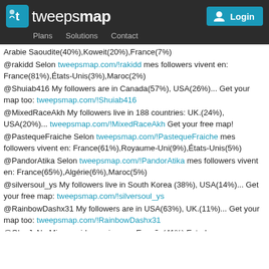tweepsmap — Plans  Solutions  Contact  Login
Arabie Saoudite(40%),Koweit(20%),France(7%)
@rakidd Selon tweepsmap.com/!rakidd mes followers vivent en: France(81%),États-Unis(3%),Maroc(2%)
@Shuiab416 My followers are in Canada(57%), USA(26%)... Get your map too: tweepsmap.com/!Shuiab416
@MixedRaceAkh My followers live in 188 countries: UK.(24%), USA(20%)... tweepsmap.com/!MixedRaceAkh Get your free map!
@PastequeFraiche Selon tweepsmap.com/!PastequeFraiche mes followers vivent en: France(61%),Royaume-Uni(9%),États-Unis(5%)
@PandorAtika Selon tweepsmap.com/!PandorAtika mes followers vivent en: France(65%),Algérie(6%),Maroc(5%)
@silversoul_ys My followers live in South Korea (38%), USA(14%)... Get your free map: tweepsmap.com/!silversoul_ys
@RainbowDashx31 My followers are in USA(63%), UK.(11%)... Get your map too: tweepsmap.com/!RainbowDashx31
@OlgaJeNo Mis seguidores viven en España(41%),Estados Unidos(16%),Italia(8%) y más tweepsmap.com/!OlgaJeNo
@nmeeder My followers live in USA (84%), Germany(3%)... Get your free map too: tweepsmap.com/!nmeeder
@safarisugg My followers are in UK.(52%), USA(17%)... Get your map too: tweepsmap.com/!safarisugg
@xjooza حسب tweepsmap.com/!xjooza يعيشون في متابعيني من %64حوالي (7%)...